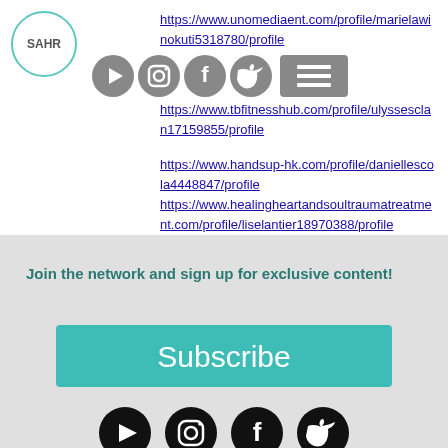[Figure (logo): SAHR circular logo with teal border]
[Figure (infographic): Social media navigation icons (YouTube, Instagram, Facebook, Twitter) and hamburger menu]
https://www.unomediaent.com/profile/marielaminokuti5318780/profile
https://www.tbfitnesshub.com/profile/ulyssesclan17159855/profile
https://www.handsup-hk.com/profile/daniellescola4448847/profile
https://www.healingheartandsoultraumatreatment.com/profile/liselantier18970388/profile
Join the network and sign up for exclusive content!
[Figure (infographic): Subscribe button in teal]
[Figure (infographic): Black social media icons: YouTube, Instagram, Facebook, Twitter]